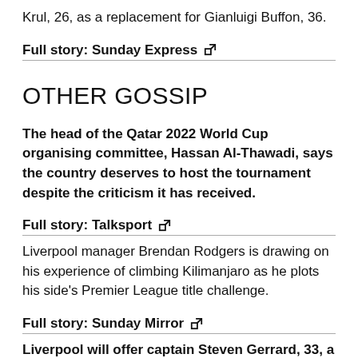Krul, 26, as a replacement for Gianluigi Buffon, 36.
Full story: Sunday Express ↗
OTHER GOSSIP
The head of the Qatar 2022 World Cup organising committee, Hassan Al-Thawadi, says the country deserves to host the tournament despite the criticism it has received.
Full story: Talksport ↗
Liverpool manager Brendan Rodgers is drawing on his experience of climbing Kilimanjaro as he plots his side's Premier League title challenge.
Full story: Sunday Mirror ↗
Liverpool will offer captain Steven Gerrard, 33, a new